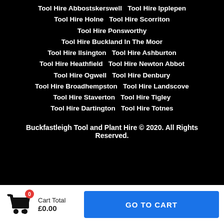Tool Hire Abbostskerswell   Tool Hire Ipplepen
Tool Hire Holne   Tool Hire Scorriton
Tool Hire Ponsworthy
Tool Hire Buckland In The Moor
Tool Hire Ilsington   Tool Hire Ashburton
Tool Hire Heathfield   Tool Hire Newton Abbot
Tool Hire Ogwell   Tool Hire Denbury
Tool Hire Broadhempston   Tool Hire Landscove
Tool Hire Staverton   Tool Hire Tigley
Tool Hire Dartington   Tool Hire Totnes
Buckfastleigh Tool and Plant Hire © 2020. All Rights Reserved.
Cart Total £0.00   GO TO CART